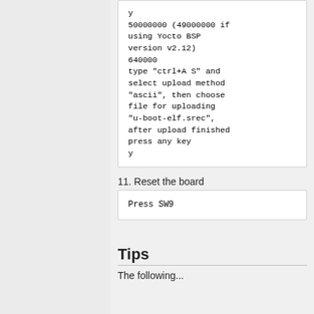y
50000000 (49000000 if using Yocto BSP version v2.12)
640000
type "ctrl+A S" and select upload method "ascii", then choose file for uploading "u-boot-elf.srec", after upload finished press any key
y
11. Reset the board
Press SW9
Tips
The following...